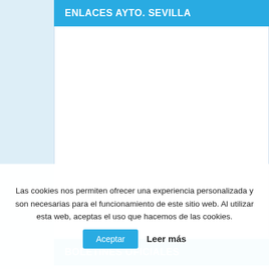ENLACES AYTO. SEVILLA
BOLETINES OFICIALES
Las cookies nos permiten ofrecer una experiencia personalizada y son necesarias para el funcionamiento de este sitio web. Al utilizar esta web, aceptas el uso que hacemos de las cookies.